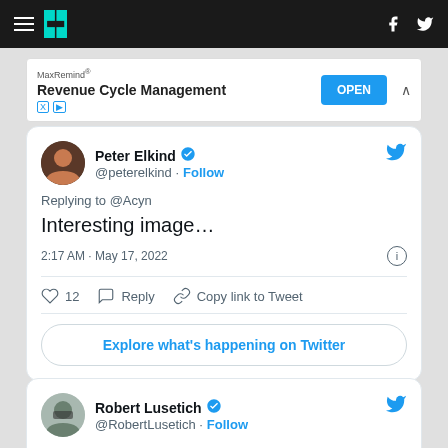HuffPost navigation header with hamburger menu, logo, Facebook and Twitter icons
[Figure (screenshot): Advertisement banner for MaxRemind Revenue Cycle Management with OPEN button]
[Figure (screenshot): Tweet by Peter Elkind (@peterelkind) replying to @Acyn: 'Interesting image...' posted at 2:17 AM May 17, 2022, with 12 likes, Reply, Copy link to Tweet actions and Explore what's happening on Twitter button]
[Figure (screenshot): Tweet card by Robert Lusetich (@RobertLusetich) with Follow link]